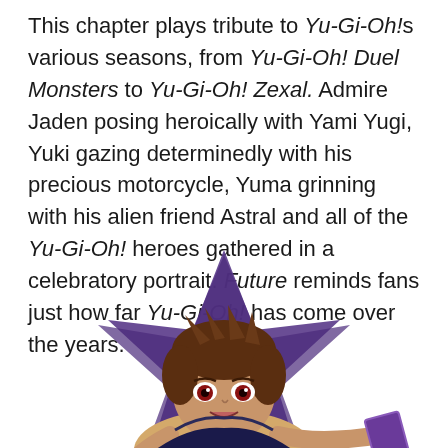This chapter plays tribute to Yu-Gi-Oh!'s various seasons, from Yu-Gi-Oh! Duel Monsters to Yu-Gi-Oh! Zexal. Admire Jaden posing heroically with Yami Yugi, Yuki gazing determinedly with his precious motorcycle, Yuma grinning with his alien friend Astral and all of the Yu-Gi-Oh! heroes gathered in a celebratory portrait. Future reminds fans just how far Yu-Gi-Oh! has come over the years.
[Figure (illustration): Anime-style illustration of a brown-haired character holding a purple duel monster card, with a large purple star shape in the background. The character appears to be from Yu-Gi-Oh! series.]